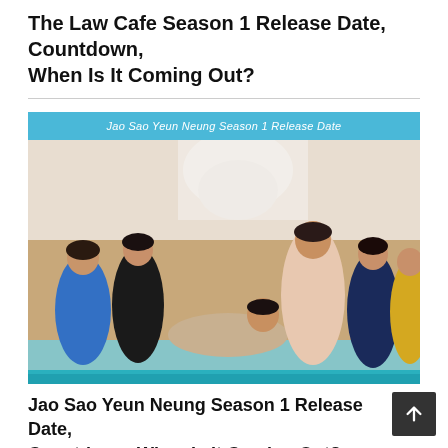The Law Cafe Season 1 Release Date, Countdown, When Is It Coming Out?
[Figure (photo): Promotional image for 'Jao Sao Yeun Neung Season 1' showing a group of actors and actresses posing together, with a blue banner at the top reading 'Jao Sao Yeun Neung Season 1 Release Date' and a teal/blue bottom strip.]
Jao Sao Yeun Neung Season 1 Release Date, Countdown, When Is It Coming Out?